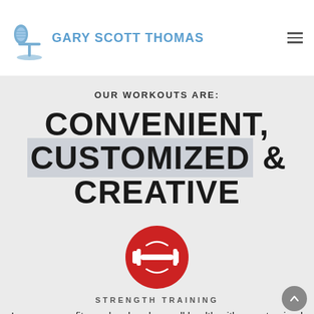[Figure (logo): Gary Scott Thomas logo with microphone icon and blue text]
OUR WORKOUTS ARE:
CONVENIENT, CUSTOMIZED & CREATIVE
[Figure (illustration): Red circle icon with white dumbbell/weights graphic inside]
STRENGTH TRAINING
Improve your fitness level and overall health with a customized